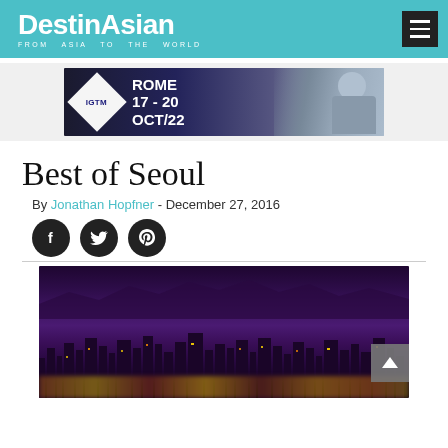DestinAsian FROM ASIA TO THE WORLD
[Figure (photo): IGTM advertisement banner: Rome 17-20 Oct/22 with a person wearing sunglasses on a motorcycle]
Best of Seoul
By Jonathan Hopfner - December 27, 2016
[Figure (infographic): Social share icons: Facebook, Twitter, Pinterest (black circular buttons)]
[Figure (photo): Aerial nighttime cityscape of Seoul with purple-toned sky and city lights illuminating the dense urban skyline]